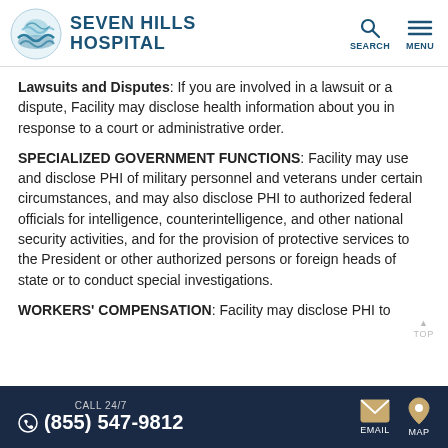Seven Hills Hospital
Lawsuits and Disputes: If you are involved in a lawsuit or a dispute, Facility may disclose health information about you in response to a court or administrative order.
SPECIALIZED GOVERNMENT FUNCTIONS: Facility may use and disclose PHI of military personnel and veterans under certain circumstances, and may also disclose PHI to authorized federal officials for intelligence, counterintelligence, and other national security activities, and for the provision of protective services to the President or other authorized persons or foreign heads of state or to conduct special investigations.
WORKERS' COMPENSATION: Facility may disclose PHI to
CALL 24/7 (855) 547-9812  EMAIL  MAP